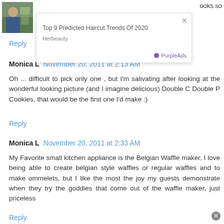[Figure (photo): Small avatar photo of a person working outdoors]
[Figure (screenshot): Ad overlay: Top 9 Predicted Haircut Trends Of 2020, Herbeauty, PurpleAds]
ooks so
Reply
Monica L  November 20, 2011 at 2:13 AM
Oh ... difficult to pick only one , but I'm salivating after looking at the wonderful looking picture (and I imagine delicious) Double C Double P Cookies, that would be the first one I'd make :)
Reply
Monica L  November 20, 2011 at 2:33 AM
My Favorite small kitchen appliance is the Belgian Waffle maker, I love being able to create belgian style waffles or regular waffles and to make ommelets, but I like the most the joy my guests demonstrate when they try the goddies that come out of the waffle maker, just priceless
Reply